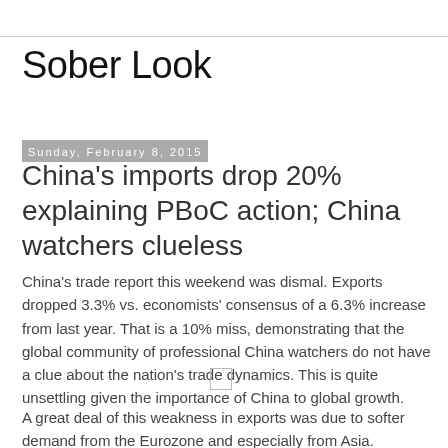Sober Look
Sunday, February 8, 2015
China's imports drop 20% explaining PBoC action; China watchers clueless
China's trade report this weekend was dismal. Exports dropped 3.3% vs. economists' consensus of a 6.3% increase from last year. That is a 10% miss, demonstrating that the global community of professional China watchers do not have a clue about the nation's trade dynamics. This is quite unsettling given the importance of China to global growth.
[Figure (other): Small image placeholder icon]
A great deal of this weakness in exports was due to softer demand from the Eurozone and especially from Asia.